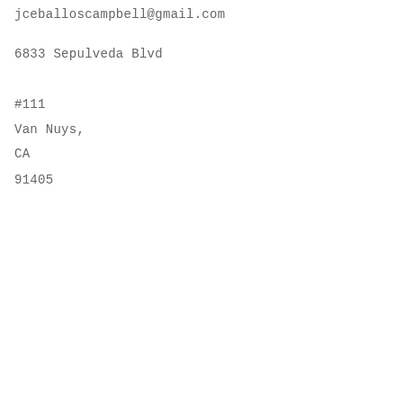jceballoscampbell@gmail.com
6833 Sepulveda Blvd
#111
Van Nuys,
CA
91405